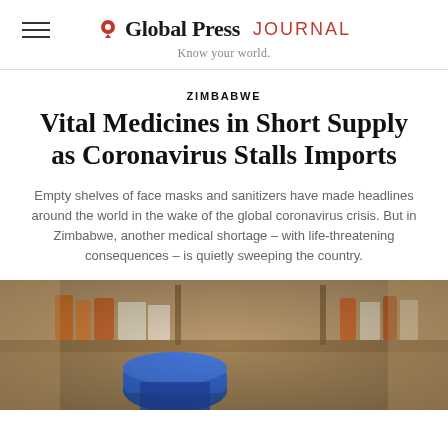Global Press JOURNAL — Know your world.
ZIMBABWE
Vital Medicines in Short Supply as Coronavirus Stalls Imports
Empty shelves of face masks and sanitizers have made headlines around the world in the wake of the global coronavirus crisis. But in Zimbabwe, another medical shortage – with life-threatening consequences – is quietly sweeping the country.
[Figure (photo): Close-up photo of medicine bottles and pharmaceutical products on a pharmacy shelf, with a blue bottle cap in the foreground]